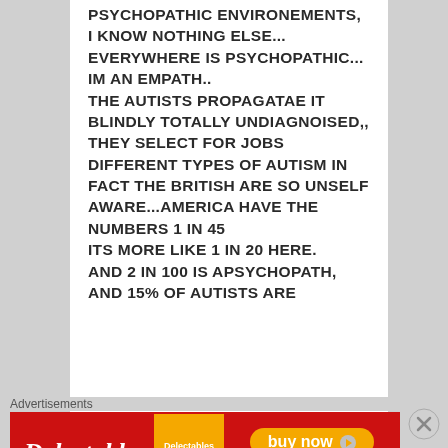PSYCHOPATHIC ENVIRONEMENTS, I KNOW NOTHING ELSE... EVERYWHERE IS PSYCHOPATHIC... IM AN EMPATH.. THE AUTISTS PROPAGATAE IT BLINDLY TOTALLY UNDIAGNOISED,, THEY SELECT FOR JOBS DIFFERENT TYPES OF AUTISM IN FACT THE BRITISH ARE SO UNSELF AWARE...AMERICA HAVE THE NUMBERS 1 IN 45 ITS MORE LIKE 1 IN 20 HERE. AND 2 IN 100 IS APSYCHOPATH, AND 15% OF AUTISTS ARE
Advertisements
[Figure (other): Advertisement banner for Delectables cat treats with red background, product image, and 'buy now' button with Chewy branding]